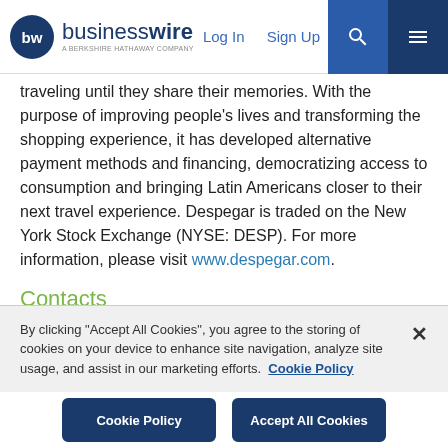businesswire — A BERKSHIRE HATHAWAY COMPANY | Log In | Sign Up
traveling until they share their memories. With the purpose of improving people's lives and transforming the shopping experience, it has developed alternative payment methods and financing, democratizing access to consumption and bringing Latin Americans closer to their next travel experience. Despegar is traded on the New York Stock Exchange (NYSE: DESP). For more information, please visit www.despegar.com.
Contacts
IR Contact
Natalia Nirenberg
Investor Relations
Phone: (+54911) 26684490
By clicking "Accept All Cookies", you agree to the storing of cookies on your device to enhance site navigation, analyze site usage, and assist in our marketing efforts. Cookie Policy